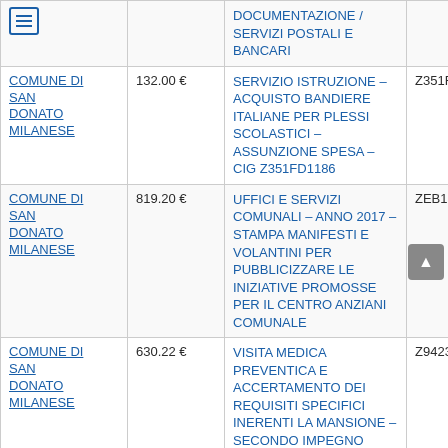| Ente | Importo | Descrizione | CIG | Data |
| --- | --- | --- | --- | --- |
| [menu] |  | DOCUMENTAZIONE / SERVIZI POSTALI E BANCARI |  |  |
| COMUNE DI SAN DONATO MILANESE | 132.00 € | SERVIZIO ISTRUZIONE – ACQUISTO BANDIERE ITALIANE PER PLESSI SCOLASTICI – ASSUNZIONE SPESA – CIG Z351FD1186 | Z351FD1186 | 07/09/20… |
| COMUNE DI SAN DONATO MILANESE | 819.20 € | UFFICI E SERVIZI COMUNALI – ANNO 2017 – STAMPA MANIFESTI E VOLANTINI PER PUBBLICIZZARE LE INIZIATIVE PROMOSSE PER IL CENTRO ANZIANI COMUNALE | ZEB1FD03D4 | 07/09/20… |
| COMUNE DI SAN DONATO MILANESE | 630.22 € | VISITA MEDICA PREVENTICA E ACCERTAMENTO DEI REQUISITI SPECIFICI INERENTI LA MANSIONE – SECONDO IMPEGNO SPESA | Z94230FAE9 | 06/04/20… |